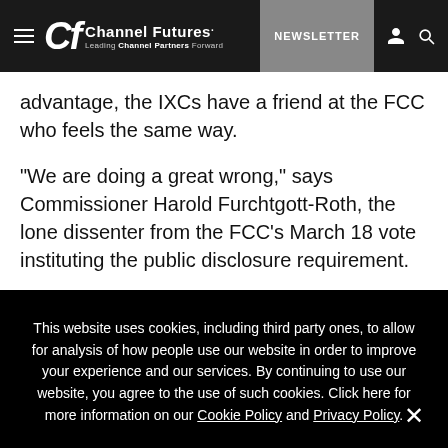Channel Futures. Leading Channel Partners Forward | NEWSLETTER
advantage, the IXCs have a friend at the FCC who feels the same way.
"We are doing a great wrong," says Commissioner Harold Furchtgott-Roth, the lone dissenter from the FCC's March 18 vote instituting the public disclosure requirement.
This website uses cookies, including third party ones, to allow for analysis of how people use our website in order to improve your experience and our services. By continuing to use our website, you agree to the use of such cookies. Click here for more information on our Cookie Policy and Privacy Policy.